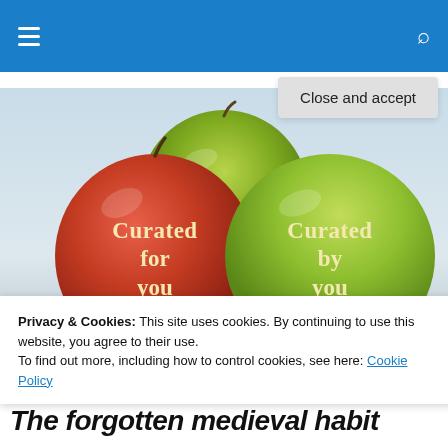Navigation bar with hamburger menu and search icon
[Figure (photo): Three apples (one red, two green) on a grey surface with text overlaid. Left red apple reads 'Curated for you', right green apple reads 'Curated by you'. Background is light blue-grey.]
Privacy & Cookies: This site uses cookies. By continuing to use this website, you agree to their use.
To find out more, including how to control cookies, see here: Cookie Policy
Close and accept
The forgotten medieval habit